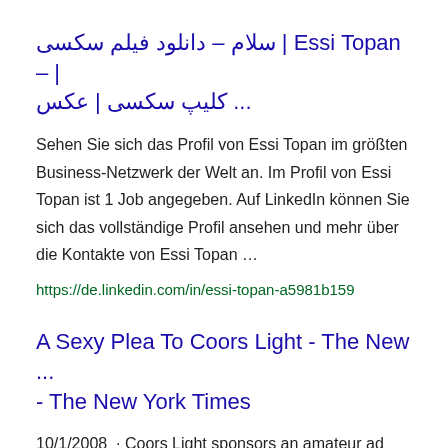سلام – دانلود فیلم سکسی | Essi Topan – | کلیپ سکسی | عکس ...
Sehen Sie sich das Profil von Essi Topan im größten Business-Netzwerk der Welt an. Im Profil von Essi Topan ist 1 Job angegeben. Auf LinkedIn können Sie sich das vollständige Profil ansehen und mehr über die Kontakte von Essi Topan …
https://de.linkedin.com/in/essi-topan-a5981b159
A Sexy Plea To Coors Light - The New ... - The New York Times
10/1/2008  · Coors Light sponsors an amateur ad contest, with the victors snagging a trip to the Super Bowl.